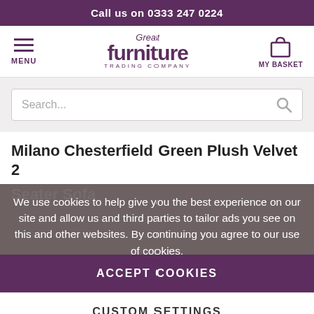Call us on 0333 247 0224
[Figure (logo): Great Furniture Trading Company logo with menu icon and basket icon in navigation bar]
[Figure (screenshot): Search bar with placeholder text 'Search...' and search icon]
Milano Chesterfield Green Plush Velvet 2 Seater Sofa
We use cookies to help give you the best experience on our site and allow us and third parties to tailor ads you see on this and other websites. By continuing you agree to our use of cookies.
ACCEPT COOKIES
CUSTOM SETTINGS